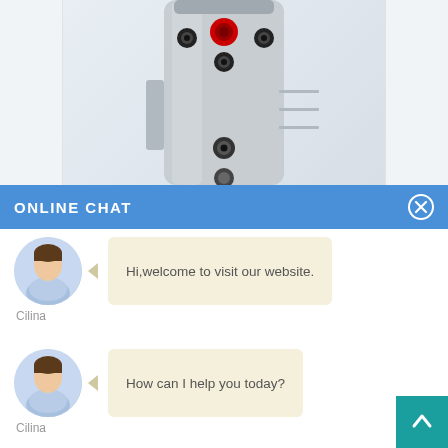[Figure (photo): Photo of a tall silver cylindrical water heater/tank with several black and one red circular ports/connections on its body, photographed against a light background.]
ONLINE CHAT
[Figure (photo): Avatar photo of a female customer service representative named Cilina wearing a light blue shirt.]
Hi,welcome to visit our website.
Cilina
[Figure (photo): Avatar photo of a female customer service representative named Cilina wearing a light blue shirt.]
How can I help you today?
Cilina